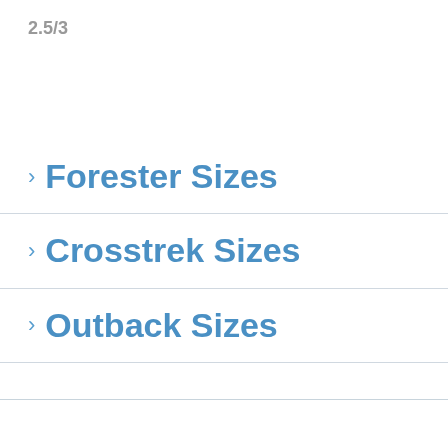2.5/3
Forester Sizes
Crosstrek Sizes
Outback Sizes